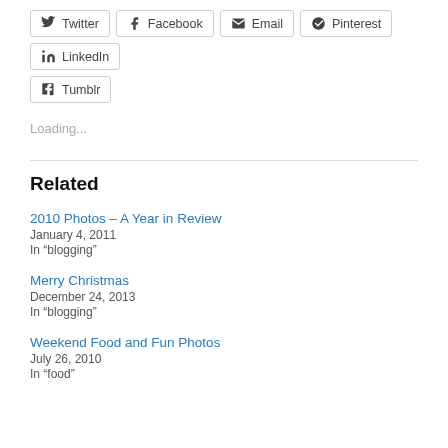Twitter
Facebook
Email
Pinterest
LinkedIn
Tumblr
Loading...
Related
2010 Photos – A Year in Review
January 4, 2011
In “blogging”
Merry Christmas
December 24, 2013
In “blogging”
Weekend Food and Fun Photos
July 26, 2010
In “food”